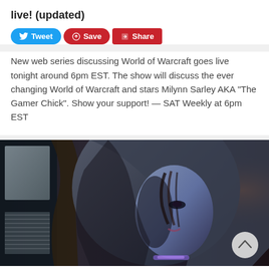live! (updated)
New web series discussing World of Warcraft goes live tonight around 6pm EST. The show will discuss the ever changing World of Warcraft and stars Milynn Sarley AKA “The Gamer Chick”. Show your support! — SAT Weekly at 6pm EST
[Figure (photo): Dark cinematic photo of an animated or 3D-rendered female character wearing a grey hoodie, looking to the left. The background is dark with hints of orange light on the right and a blurred window scene on the left.]
Can we Save the Republique? Kickstart Innovation on